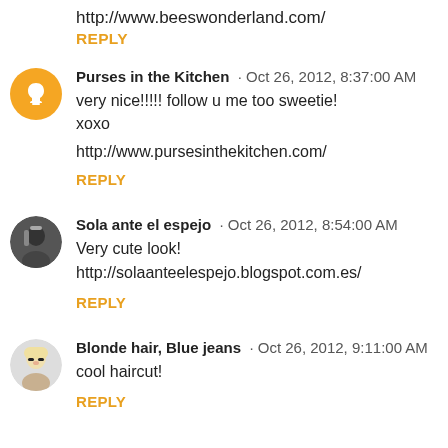http://www.beeswonderland.com/
REPLY
Purses in the Kitchen · Oct 26, 2012, 8:37:00 AM
very nice!!!!! follow u me too sweetie! xoxo
http://www.pursesinthekitchen.com/
REPLY
Sola ante el espejo · Oct 26, 2012, 8:54:00 AM
Very cute look! http://solaanteelespejo.blogspot.com.es/
REPLY
Blonde hair, Blue jeans · Oct 26, 2012, 9:11:00 AM
cool haircut!
REPLY